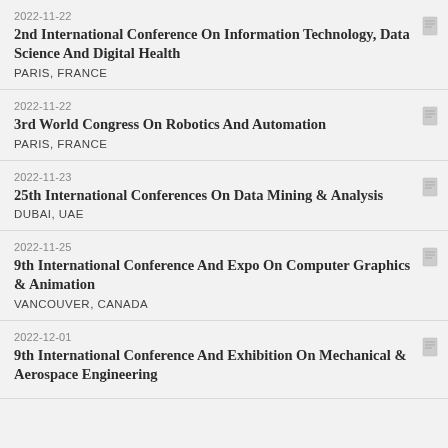2022-11-22 | 2nd International Conference On Information Technology, Data Science And Digital Health | PARIS, FRANCE
2022-11-22 | 3rd World Congress On Robotics And Automation | PARIS, FRANCE
2022-11-23 | 25th International Conferences On Data Mining & Analysis | DUBAI, UAE
2022-11-25 | 9th International Conference And Expo On Computer Graphics & Animation | VANCOUVER, CANADA
2022-12-01 | 9th International Conference And Exhibition On Mechanical & Aerospace Engineering